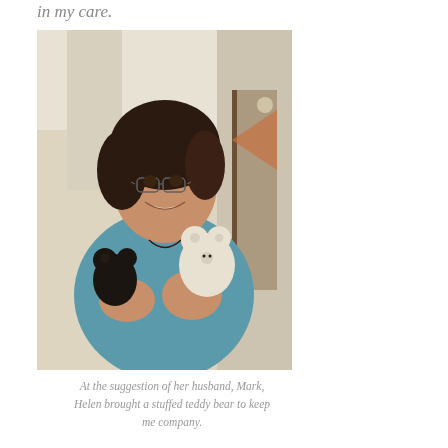in my care.
[Figure (photo): A smiling woman with short dark hair and glasses, wearing a teal/blue sweater, holding two stuffed teddy bears (one dark/black and one white/light colored) up near her chest. She is photographed indoors with a light-colored interior background.]
At the suggestion of her husband, Mark, Helen brought a stuffed teddy bear to keep me company.